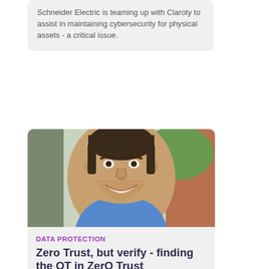Schneider Electric is teaming up with Claroty to assist in maintaining cybersecurity for physical assets - a critical issue.
[Figure (photo): Portrait photo of a smiling man with short dark hair and beard, wearing a blue shirt, photographed outdoors with green and brick background]
DATA PROTECTION
Zero Trust, but verify - finding the OT in ZerO Trust
The move to remote and cloud-based technologies has shifted the goalposts for cybersecurity. It now needs to